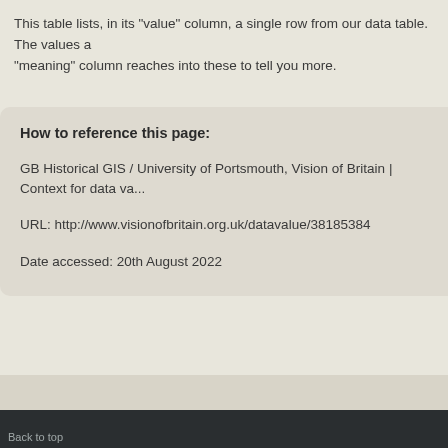This table lists, in its "value" column, a single row from our data table. The values a... "meaning" column reaches into these to tell you more.
How to reference this page:
GB Historical GIS / University of Portsmouth, Vision of Britain | Context for data va...
URL: http://www.visionofbritain.org.uk/datavalue/38185384
Date accessed: 20th August 2022
Back to top